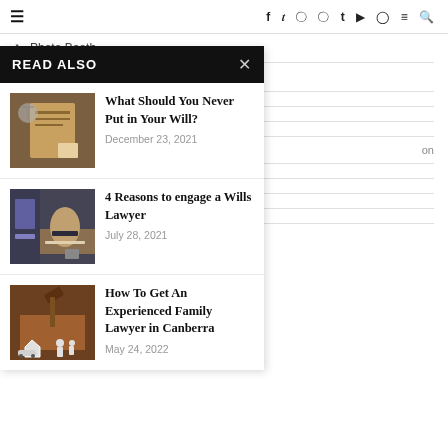≡  f  t  ☷  ⊕  t  ▶  ⊙  ≡  🔍
> Photo Booth
> Photography
READ ALSO
[Figure (photo): Photo of legal document signing / will with scales of justice]
What Should You Never Put in Your Will?
December 23, 2021
[Figure (photo): Photo of lawyer with gavel and documents]
4 Reasons to engage a Wills Lawyer
July 28, 2021
[Figure (photo): Photo of gavel with house and family icons]
How To Get An Experienced Family Lawyer in Canberra
May 24, 2022